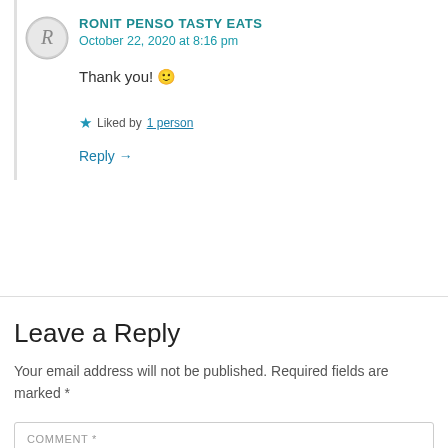[Figure (illustration): Circular avatar icon with letter R in grayscale style]
RONIT PENSO TASTY EATS
October 22, 2020 at 8:16 pm
Thank you! 🙂
★ Liked by 1 person
Reply →
Leave a Reply
Your email address will not be published. Required fields are marked *
COMMENT *